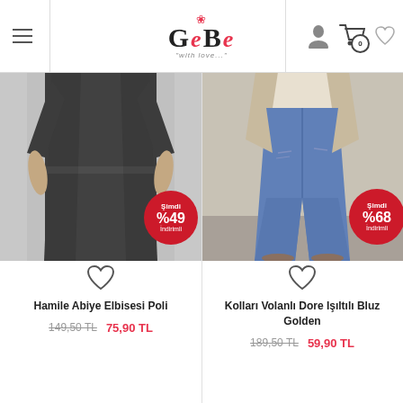[Figure (screenshot): GeBe maternity fashion website header with hamburger menu, logo, user/cart/wishlist icons]
[Figure (photo): Maternity black dress - Hamile Abiye Elbisesi Poli with 49% discount badge]
[Figure (photo): Maternity jeans and blouse outfit - Kolları Volanlı Dore Işıltılı Bluz Golden with 68% discount badge]
Hamile Abiye Elbisesi Poli
149,50 TL  75,90 TL
Kolları Volanlı Dore Işıltılı Bluz Golden
189,50 TL  59,90 TL